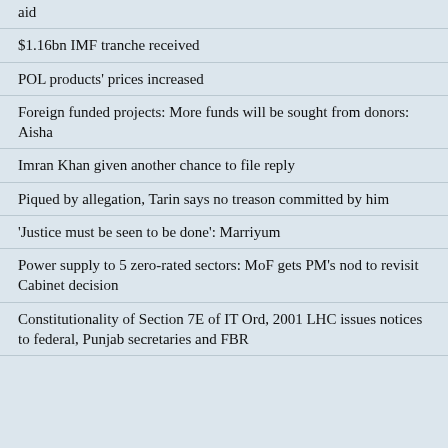aid
$1.16bn IMF tranche received
POL products' prices increased
Foreign funded projects: More funds will be sought from donors: Aisha
Imran Khan given another chance to file reply
Piqued by allegation, Tarin says no treason committed by him
'Justice must be seen to be done': Marriyum
Power supply to 5 zero-rated sectors: MoF gets PM's nod to revisit Cabinet decision
Constitutionality of Section 7E of IT Ord, 2001 LHC issues notices to federal, Punjab secretaries and FBR